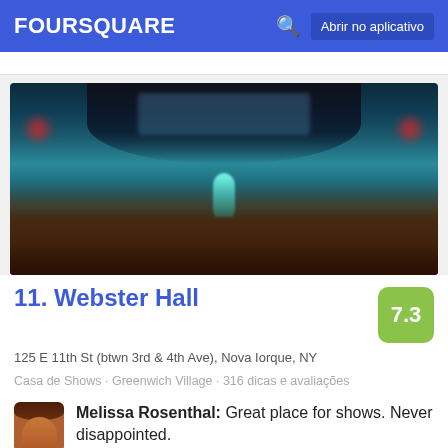FOURSQUARE  Abrir no aplicativo
[Figure (photo): Crowded nightclub interior showing a packed dance floor with a performer in teal/green outfit on stage, blue and teal lighting throughout, viewed from above the crowd]
11. Webster Hall
125 E 11th St (btwn 3rd & 4th Ave), Nova Iorque, NY
Casa de Shows · Greenwich Village · 316 dicas e avaliações
Melissa Rosenthal: Great place for shows. Never disappointed.